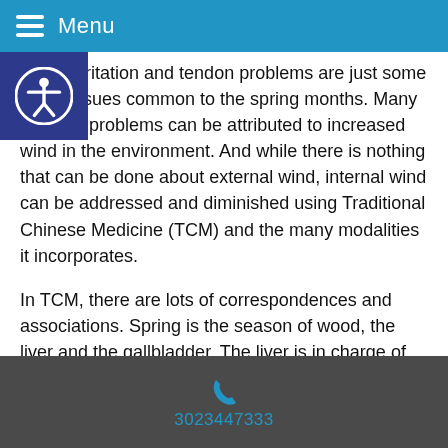Menu
anger, irritation and tendon problems are just some of the issues common to the spring months. Many of these problems can be attributed to increased wind in the environment. And while there is nothing that can be done about external wind, internal wind can be addressed and diminished using Traditional Chinese Medicine (TCM) and the many modalities it incorporates.
In TCM, there are lots of correspondences and associations. Spring is the season of wood, the liver and the gallbladder. The liver is in charge of detoxification and keeping the energy or Qi (pronounced “chee”) flowing smoothly. The gallbladder governs decision making and controls the sinews of the body.
3023447333